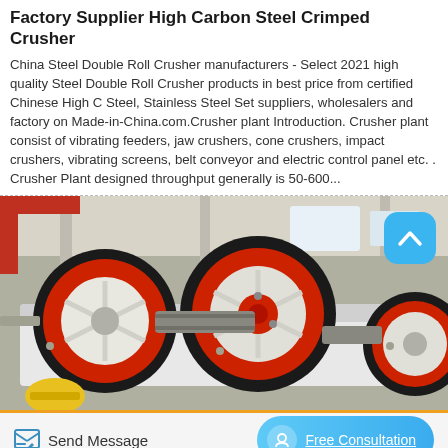Factory Supplier High Carbon Steel Crimped Crusher
China Steel Double Roll Crusher manufacturers - Select 2021 high quality Steel Double Roll Crusher products in best price from certified Chinese High C Steel, Stainless Steel Set suppliers, wholesalers and factory on Made-in-China.com.Crusher plant Introduction. Crusher plant consist of vibrating feeders, jaw crushers, cone crushers, impact crushers, vibrating screens, belt conveyor and electric control panel etc. . Crusher Plant designed throughput generally is 50-600...
[Figure (photo): Industrial double roll crusher machine with large black rubber rollers with red trim rings, white metal frame, displayed in a factory/warehouse setting]
Send Message
Free Consultation